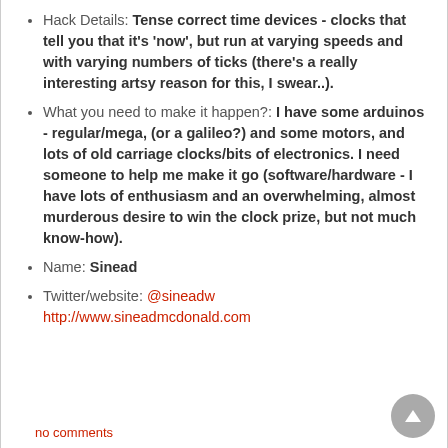Hack Details: Tense correct time devices - clocks that tell you that it's 'now', but run at varying speeds and with varying numbers of ticks (there's a really interesting artsy reason for this, I swear..).
What you need to make it happen?: I have some arduinos - regular/mega, (or a galileo?) and some motors, and lots of old carriage clocks/bits of electronics. I need someone to help me make it go (software/hardware - I have lots of enthusiasm and an overwhelming, almost murderous desire to win the clock prize, but not much know-how).
Name: Sinead
Twitter/website: @sineadw http://www.sineadmcdonald.com
no comments